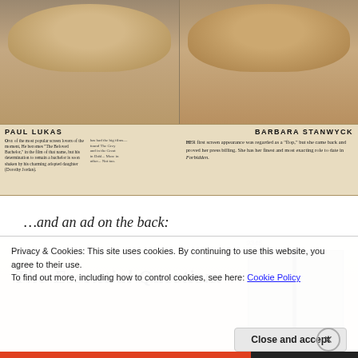[Figure (photo): Side-by-side vintage portrait photos of Paul Lukas (left) and Barbara Stanwyck (right), sepia-toned, from a magazine page]
PAUL LUKAS — One of the most popular screen lovers of the moment, he becomes 'The Beloved Bachelor,' in the film of that name, but his determination to remain a bachelor is soon shaken by his charming adopted daughter (Dorothy Jordan). | BARBARA STANWYCK — Her first screen appearance was regarded as a 'flop,' but she came back and proved her press billing. She has her finest and most exacting role to date in 'Forbidden.'
…and an ad on the back:
[Figure (photo): Vintage advertisement page with text 'The Essential Question:' in italic serif font on a cream/tan background, with a grey rectangular block on the right side and a pencil marking '9345' near the top]
Privacy & Cookies: This site uses cookies. By continuing to use this website, you agree to their use.
To find out more, including how to control cookies, see here: Cookie Policy